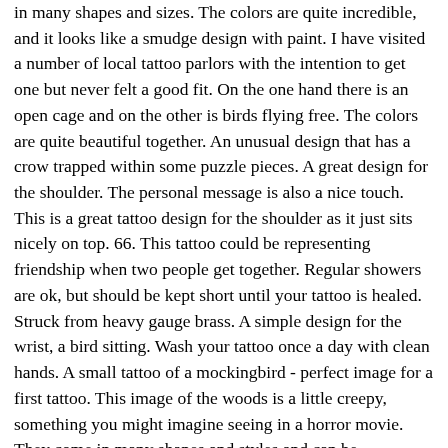in many shapes and sizes. The colors are quite incredible, and it looks like a smudge design with paint. I have visited a number of local tattoo parlors with the intention to get one but never felt a good fit. On the one hand there is an open cage and on the other is birds flying free. The colors are quite beautiful together. An unusual design that has a crow trapped within some puzzle pieces. A great design for the shoulder. The personal message is also a nice touch. This is a great tattoo design for the shoulder as it just sits nicely on top. 66. This tattoo could be representing friendship when two people get together. Regular showers are ok, but should be kept short until your tattoo is healed. Struck from heavy gauge brass. A simple design for the wrist, a bird sitting. Wash your tattoo once a day with clean hands. A small tattoo of a mockingbird - perfect image for a first tattoo. This image of the woods is a little creepy, something you might imagine seeing in a horror movie. They come in many shapes and styles and can be implemented into any tattoo design. It's original and creative and the colors just blow you away. Highly recommend." These flying birds look great on the front of the shoulder and collarbone area. "Most definitely recommend talking to them about your next tattoo! A small tattoo that sits alongside the waistline, a sweet design. It even comes with a machine pressed ring on the beak for easy jewelry making. American made using a vintage die. The owl design is rather large and bright. I love this sketch of the bird as it doesn't even look like a tattoo. These four birds are flying together in a line. The rule of